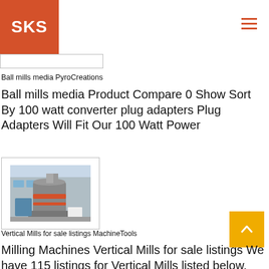SKS
[Figure (logo): SKS logo — white text on orange/red square background]
Ball mills media PyroCreations
Ball mills media Product Compare 0 Show Sort By 100 watt converter plug adapters Plug Adapters Will Fit Our 100 Watt Power
[Figure (photo): Industrial vertical mill machinery in a factory setting with orange and blue equipment]
Vertical Mills for sale listings MachineTools
Milling Machines Vertical Mills for sale listings We have 115 listings for Vertical Mills listed below. Find